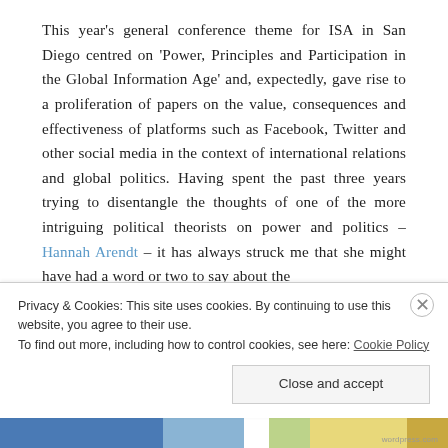This year's general conference theme for ISA in San Diego centred on 'Power, Principles and Participation in the Global Information Age' and, expectedly, gave rise to a proliferation of papers on the value, consequences and effectiveness of platforms such as Facebook, Twitter and other social media in the context of international relations and global politics. Having spent the past three years trying to disentangle the thoughts of one of the more intriguing political theorists on power and politics – Hannah Arendt – it has always struck me that she might have had a word or two to say about the
Privacy & Cookies: This site uses cookies. By continuing to use this website, you agree to their use.
To find out more, including how to control cookies, see here: Cookie Policy
Close and accept